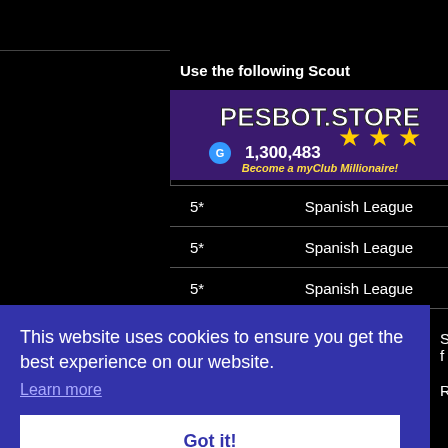Use the following Scout
[Figure (screenshot): PESBOT.STORE advertisement banner showing G 1,300,483 and three gold stars with text 'Become a myClub Millionaire!']
Show
Show
Show
| 5* | Spanish League |  |
| 5* | Spanish League |  |
| 5* | Spanish League |  |
This website uses cookies to ensure you get the best experience on our website.
Learn more
Got it!
Search f
Return